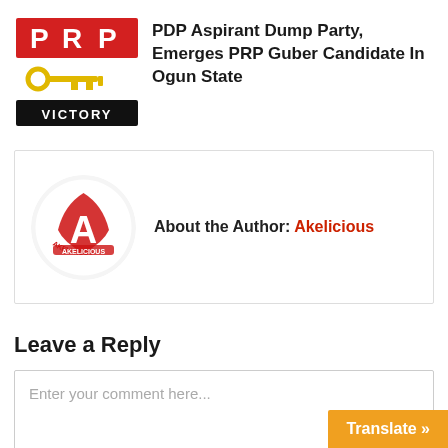[Figure (logo): PRP party logo with red rectangle letters P R P, yellow key icon, and black VICTORY bar]
PDP Aspirant Dump Party, Emerges PRP Guber Candidate In Ogun State
[Figure (logo): Akelicious circular logo with red and white ribbon design]
About the Author: Akelicious
Leave a Reply
Enter your comment here...
Translate »